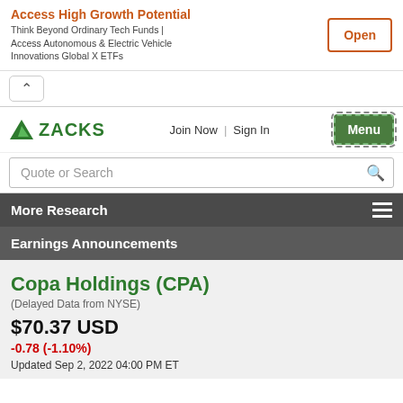[Figure (screenshot): Advertisement banner for Global X ETFs with orange title 'Access High Growth Potential', body text 'Think Beyond Ordinary Tech Funds | Access Autonomous & Electric Vehicle Innovations Global X ETFs', and an orange-outlined Open button]
[Figure (screenshot): Collapse chevron button (up arrow) in a rounded box]
[Figure (logo): Zacks logo with green triangle and green text ZACKS, nav links Join Now and Sign In, and a green Menu button with dashed border]
Quote or Search
More Research
Earnings Announcements
Copa Holdings (CPA)
(Delayed Data from NYSE)
$70.37 USD
-0.78 (-1.10%)
Updated Sep 2, 2022 04:00 PM ET